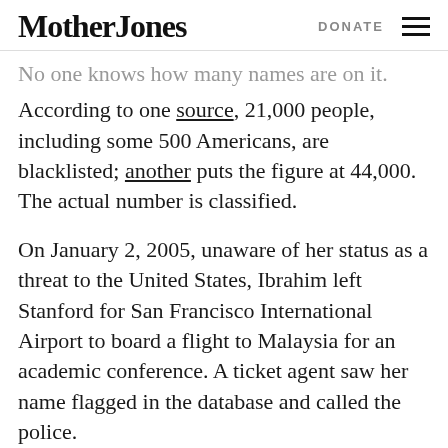Mother Jones | DONATE ☰
No one knows how many names are on it. According to one source, 21,000 people, including some 500 Americans, are blacklisted; another puts the figure at 44,000. The actual number is classified.
On January 2, 2005, unaware of her status as a threat to the United States, Ibrahim left Stanford for San Francisco International Airport to board a flight to Malaysia for an academic conference. A ticket agent saw her name flagged in the database and called the police.
Despite being wheelchair-bound due to complications from a medical procedure, Ibrahim was handcuffed, taken to a detention cell, and